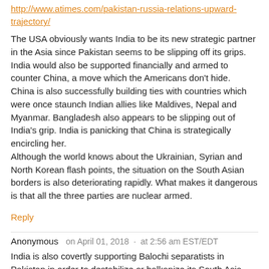http://www.atimes.com/pakistan-russia-relations-upward-trajectory/
The USA obviously wants India to be its new strategic partner in the Asia since Pakistan seems to be slipping off its grips. India would also be supported financially and armed to counter China, a move which the Americans don't hide. China is also successfully building ties with countries which were once staunch Indian allies like Maldives, Nepal and Myanmar. Bangladesh also appears to be slipping out of India's grip. India is panicking that China is strategically encircling her. Although the world knows about the Ukrainian, Syrian and North Korean flash points, the situation on the South Asian borders is also deteriorating rapidly. What makes it dangerous is that all the three parties are nuclear armed.
Reply
Anonymous   on April 01, 2018  ·  at 2:56 am EST/EDT
India is also covertly supporting Balochi separatists in Pakistan in order to destabilize or balkanize its South Asia rival. The twist is that there is also a Balochi separatist movement in Iran as well,